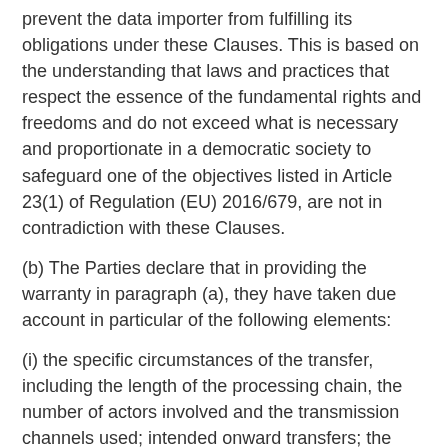prevent the data importer from fulfilling its obligations under these Clauses. This is based on the understanding that laws and practices that respect the essence of the fundamental rights and freedoms and do not exceed what is necessary and proportionate in a democratic society to safeguard one of the objectives listed in Article 23(1) of Regulation (EU) 2016/679, are not in contradiction with these Clauses.
(b) The Parties declare that in providing the warranty in paragraph (a), they have taken due account in particular of the following elements:
(i) the specific circumstances of the transfer, including the length of the processing chain, the number of actors involved and the transmission channels used; intended onward transfers; the type of recipient; the purpose of processing; the categories and format of the transferred personal data; the economic sector in which the transfer occurs; the storage location of the data transferred;